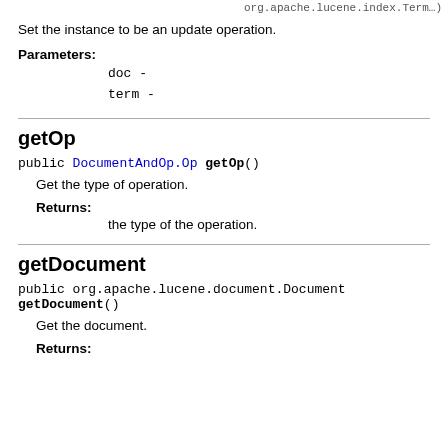org.apache.lucene.index.Term...
Set the instance to be an update operation.
Parameters:
doc -
term -
getOp
public DocumentAndOp.Op getOp()
Get the type of operation.
Returns:
the type of the operation.
getDocument
public org.apache.lucene.document.Document getDocument()
Get the document.
Returns: